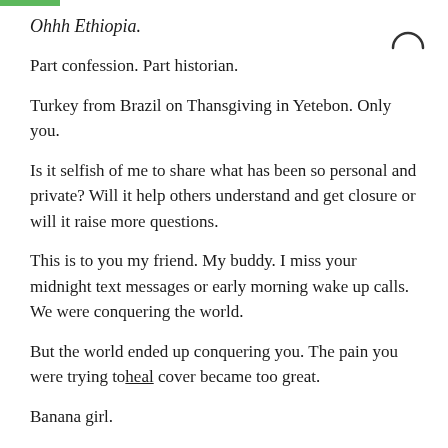Ohhh Ethiopia.
Part confession. Part historian.
Turkey from Brazil on Thansgiving in Yetebon. Only you.
Is it selfish of me to share what has been so personal and private? Will it help others understand and get closure or will it raise more questions.
This is to you my friend. My buddy. I miss your midnight text messages or early morning wake up calls. We were conquering the world.
But the world ended up conquering you. The pain you were trying to̶h̶e̶a̶l cover became too great.
Banana girl.